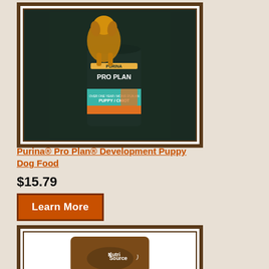[Figure (photo): Purina Pro Plan puppy dog food bag with a golden retriever puppy, dark green/teal packaging]
Purina® Pro Plan® Development Puppy Dog Food
$15.79
Learn More
[Figure (photo): NutriSource brown dog food bag]